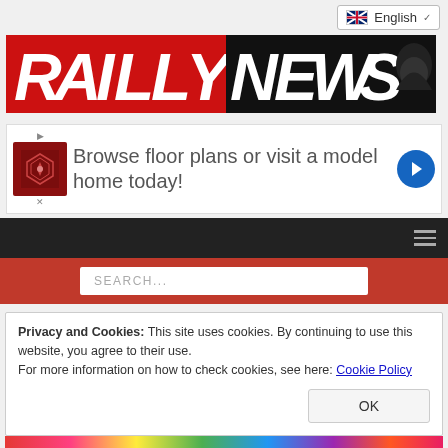[Figure (screenshot): Language selector dropdown showing English with flag icon]
[Figure (logo): RaillyNews logo — RAILLY in red block letters, NEWS in black with a train silhouette]
[Figure (infographic): Advertisement banner: Browse floor plans or visit a model home today!]
[Figure (screenshot): Black navigation bar with hamburger menu icon]
[Figure (screenshot): Red search bar with SEARCH... placeholder text]
Privacy and Cookies: This site uses cookies. By continuing to use this website, you agree to their use.
For more information on how to check cookies, see here: Cookie Policy
[Figure (screenshot): OK button for cookie consent dialog]
[Figure (photo): Colorful image strip at the bottom]